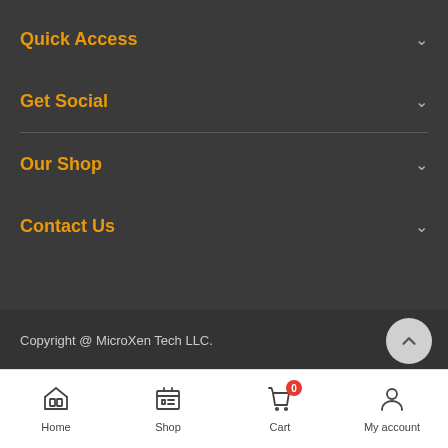Quick Access
Get Social
Our Shop
Contact Us
Copyright @ MicroXen Tech LLC.
Home  Shop  Cart  My account